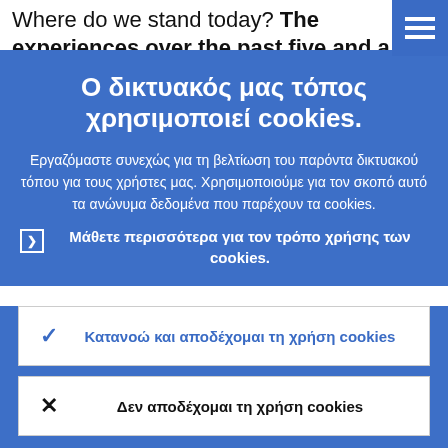Where do we stand today? The experiences over the past five and a half years make it clear that the euro has
[Figure (screenshot): Blue hamburger menu button in top right corner]
Ο δικτυακός μας τόπος χρησιμοποιεί cookies.
Εργαζόμαστε συνεχώς για τη βελτίωση του παρόντα δικτυακού τόπου για τους χρήστες μας. Χρησιμοποιούμε για τον σκοπό αυτό τα ανώνυμα δεδομένα που παρέχουν τα cookies.
▶ Μάθετε περισσότερα για τον τρόπο χρήσης των cookies.
✓ Κατανοώ και αποδέχομαι τη χρήση cookies
✗ Δεν αποδέχομαι τη χρήση cookies